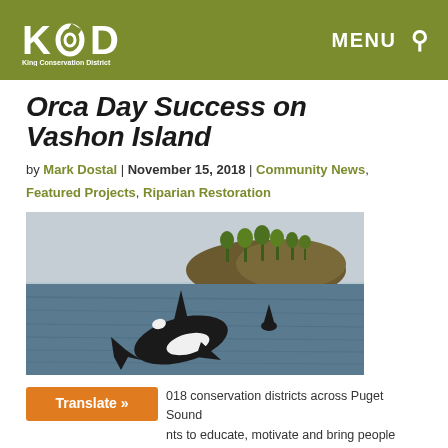King Conservation District — MENU [search]
Orca Day Success on Vashon Island
by Mark Dostal | November 15, 2018 | Community News, Featured Projects, Riparian Restoration
[Figure (photo): Two orca whales swimming in Puget Sound with an island and forested hillside in the background under a hazy sky]
2018 conservation districts across Puget Sound nts to educate, motivate and bring people